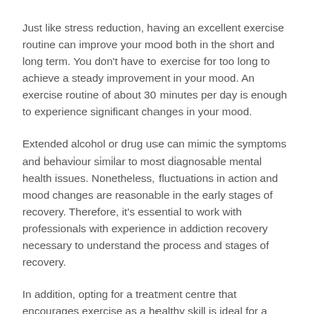Just like stress reduction, having an excellent exercise routine can improve your mood both in the short and long term. You don't have to exercise for too long to achieve a steady improvement in your mood. An exercise routine of about 30 minutes per day is enough to experience significant changes in your mood.
Extended alcohol or drug use can mimic the symptoms and behaviour similar to most diagnosable mental health issues. Nonetheless, fluctuations in action and mood changes are reasonable in the early stages of recovery. Therefore, it's essential to work with professionals with experience in addiction recovery necessary to understand the process and stages of recovery.
In addition, opting for a treatment centre that encourages exercise as a healthy skill is ideal for a smooth recovery.